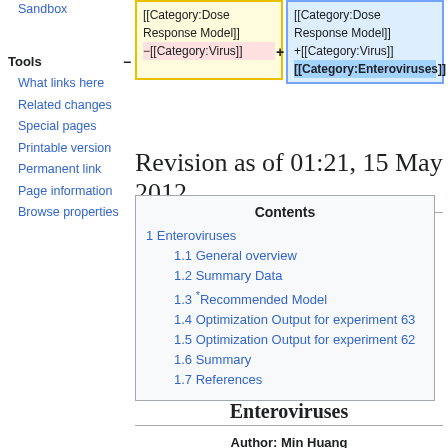Sandbox
Tools
What links here
Related changes
Special pages
Printable version
Permanent link
Page information
Browse properties
| [[Category:Dose Response Model]]
−[[Category:Virus]] | [[Category:Dose Response Model]]
+[[Category:Virus]]
[[Category:Enteroviruses]] |
Revision as of 01:21, 15 May 2012
| Contents |
| --- |
| 1 Enteroviruses |
| 1.1 General overview |
| 1.2 Summary Data |
| 1.3 *Recommended Model |
| 1.4 Optimization Output for experiment 63 |
| 1.5 Optimization Output for experiment 62 |
| 1.6 Summary |
| 1.7 References |
Enteroviruses
Author: Min Huang